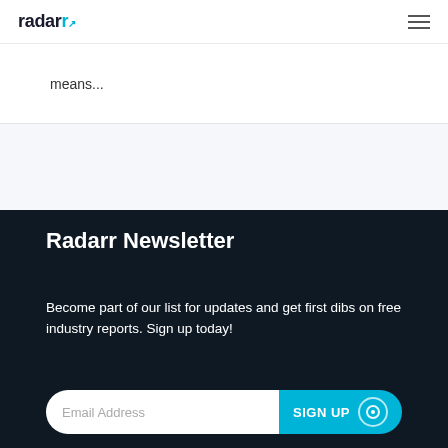radarr
means...
Radarr Newsletter
Become part of our list for updates and get first dibs on free industry reports. Sign up today!